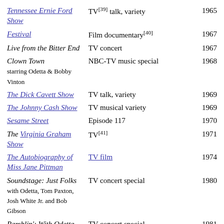| Title | Type | Year |
| --- | --- | --- |
| Tennessee Ernie Ford Show | TV[39] talk, variety | 1965 |
| Festival | Film documentary[40] | 1967 |
| Live from the Bitter End | TV concert | 1967 |
| Clown Town starring Odetta & Bobby Vinton | NBC-TV music special | 1968 |
| The Dick Cavett Show | TV talk, variety | 1969 |
| The Johnny Cash Show | TV musical variety | 1969 |
| Sesame Street | Episode 117 | 1970 |
| The Virginia Graham Show | TV[41] | 1971 |
| The Autobiography of Miss Jane Pittman | TV film | 1974 |
| Soundstage: Just Folks with Odetta, Tom Paxton, Josh White Jr. and Bob Gibson | TV concert special | 1980 |
| Ramblin': With Odetta | TV concert special | 1981 |
| Chords of Fame | Film documentary[42] | 1984 |
| Macy's Thanksgiving Day Parade |  | 1989 |